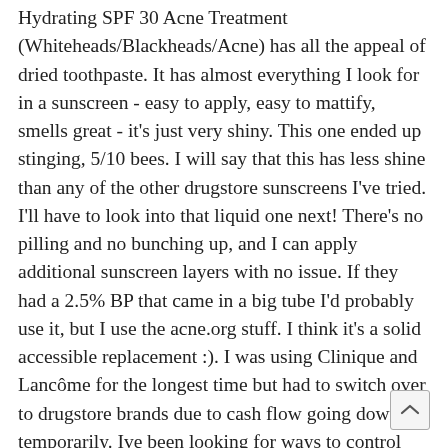Hydrating SPF 30 Acne Treatment (Whiteheads/Blackheads/Acne) has all the appeal of dried toothpaste. It has almost everything I look for in a sunscreen - easy to apply, easy to mattify, smells great - it's just very shiny. This one ended up stinging, 5/10 bees. I will say that this has less shine than any of the other drugstore sunscreens I've tried. I'll have to look into that liquid one next! There's no pilling and no bunching up, and I can apply additional sunscreen layers with no issue. If they had a 2.5% BP that came in a big tube I'd probably use it, but I use the acne.org stuff. I think it's a solid accessible replacement :). I was using Clinique and Lancôme for the longest time but had to switch over to drugstore brands due to cash flow going down temporarily. Ive been looking for ways to control my oily face and I discovered recently the neutrogena oil free acne wash from this youtube channel Dr Dray. These 12 options are so easy to apply and will give your skin the m gorgeous, rosy glow. I use their sesame body oil and lov